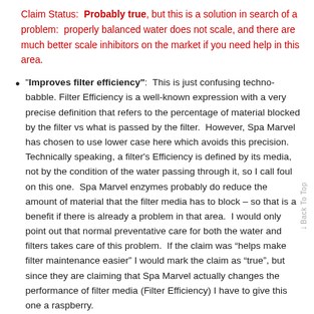Claim Status: Probably true, but this is a solution in search of a problem: properly balanced water does not scale, and there are much better scale inhibitors on the market if you need help in this area.
"Improves filter efficiency": This is just confusing techno-babble. Filter Efficiency is a well-known expression with a very precise definition that refers to the percentage of material blocked by the filter vs what is passed by the filter. However, Spa Marvel has chosen to use lower case here which avoids this precision. Technically speaking, a filter's Efficiency is defined by its media, not by the condition of the water passing through it, so I call foul on this one. Spa Marvel enzymes probably do reduce the amount of material that the filter media has to block – so that is a benefit if there is already a problem in that area. I would only point out that normal preventative care for both the water and filters takes care of this problem. If the claim was “helps make filter maintenance easier” I would mark the claim as “true”, but since they are claiming that Spa Marvel actually changes the performance of filter media (Filter Efficiency) I have to give this one a raspberry.